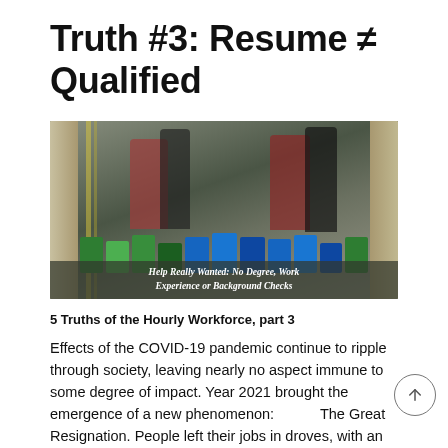Truth #3: Resume ≠ Qualified
[Figure (photo): Warehouse workers wearing masks sorting packages into green and blue bins on conveyor/sorting tables, shelving units visible in background. Overlay text reads: 'Help Really Wanted: No Degree, Work Experience or Background Checks']
5 Truths of the Hourly Workforce, part 3
Effects of the COVID-19 pandemic continue to ripple through society, leaving nearly no aspect immune to some degree of impact. Year 2021 brought the emergence of a new phenomenon: The Great Resignation. People left their jobs in droves, with an all-time high of 4.5 million